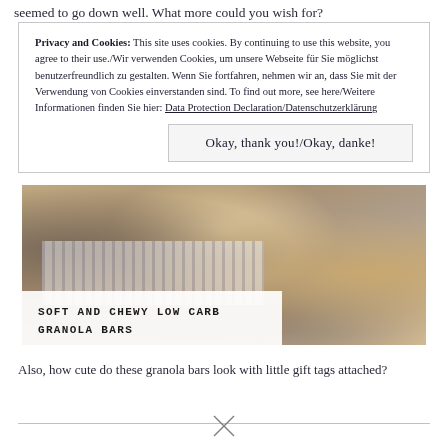seemed to go down well. What more could you wish for?
Privacy and Cookies: This site uses cookies. By continuing to use this website, you agree to their use./Wir verwenden Cookies, um unsere Webseite für Sie möglichst benutzerfreundlich zu gestalten. Wenn Sie fortfahren, nehmen wir an, dass Sie mit der Verwendung von Cookies einverstanden sind. To find out more, see here/Weitere Informationen finden Sie hier: Data Protection Declaration/Datenschutzerklärung
Okay, thank you!/Okay, danke!
[Figure (photo): Close-up photo of soft and chewy low carb granola bars on a striped fabric, with chocolate chips and oats visible]
SOFT AND CHEWY LOW CARB GRANOLA BARS
Also, how cute do these granola bars look with little gift tags attached?